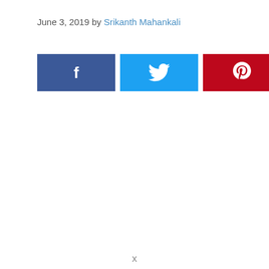June 3, 2019 by Srikanth Mahankali
[Figure (other): Social share buttons: Facebook (blue), Twitter (cyan), Pinterest (red), with share count of 80 SHARES and a share icon]